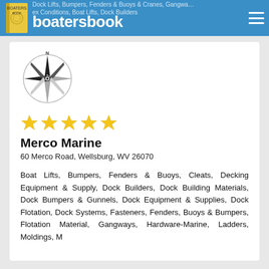boatersbook — Dock Lifts, Bumpers, Fenders & Buoys, Cranes, Gangways, Deck Maintenance, Boat Lifts, Dock Builders
[Figure (illustration): Compass rose illustration in black and white with N label at top]
[Figure (illustration): Five yellow star rating icons]
Merco Marine
60 Merco Road, Wellsburg, WV 26070
Boat Lifts, Bumpers, Fenders & Buoys, Cleats, Decking Equipment & Supply, Dock Builders, Dock Building Materials, Dock Bumpers & Gunnels, Dock Equipment & Supplies, Dock Flotation, Dock Systems, Fasteners, Fenders, Buoys & Bumpers, Flotation Material, Gangways, Hardware-Marine, Ladders, Moldings, M